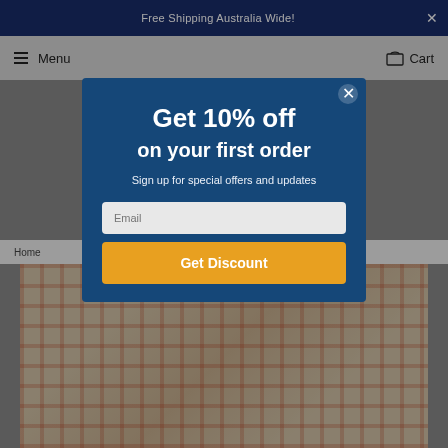Free Shipping Australia Wide!
Menu   Cart
Home
[Figure (screenshot): Rug product image at bottom of page]
Get 10% off
on your first order
Sign up for special offers and updates
Email
Get Discount